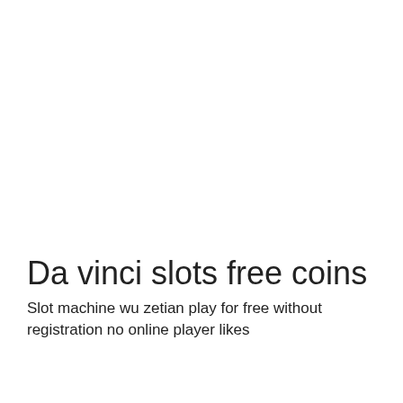Da vinci slots free coins
Slot machine wu zetian play for free without registration no online player likes